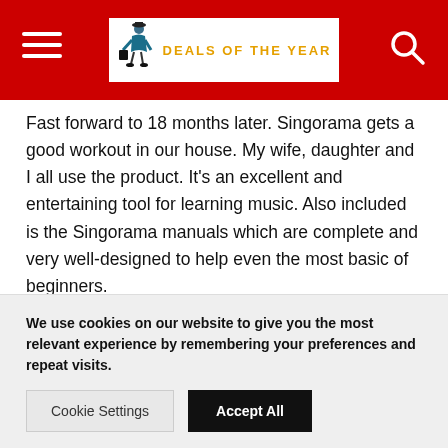DEALS OF THE YEAR
Fast forward to 18 months later. Singorama gets a good workout in our house. My wife, daughter and I all use the product. It's an excellent and entertaining tool for learning music. Also included is the Singorama manuals which are complete and very well-designed to help even the most basic of beginners.

It is amazing how understanding some of the theory and basics of sound and singing can help improve even
We use cookies on our website to give you the most relevant experience by remembering your preferences and repeat visits.